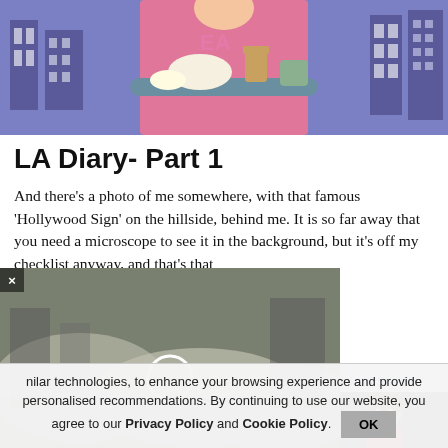[Figure (illustration): Cartoon illustration of a woman in pink holding a food tray with breakfast items, city buildings in background]
LA Diary- Part 1
And there's a photo of me somewhere, with that famous 'Hollywood Sign' on the hillside, behind me. It is so far away that you need a microscope to see it in the background, but it's off my checklist anyway, and that's that
[Figure (photo): Popup video overlay showing a smoky/dusty urban scene with a white circle marker]
enakshi Shedde
[Figure (illustration): Thumbnail image showing an animated female character]
nilar technologies, to enhance your browsing experience and provide personalised recommendations. By continuing to use our website, you agree to our Privacy Policy and Cookie Policy.